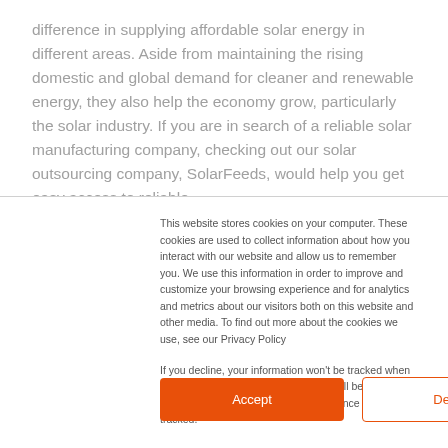difference in supplying affordable solar energy in different areas. Aside from maintaining the rising domestic and global demand for cleaner and renewable energy, they also help the economy grow, particularly the solar industry. If you are in search of a reliable solar manufacturing company, checking out our solar outsourcing company, SolarFeeds, would help you get easy access to reliable
This website stores cookies on your computer. These cookies are used to collect information about how you interact with our website and allow us to remember you. We use this information in order to improve and customize your browsing experience and for analytics and metrics about our visitors both on this website and other media. To find out more about the cookies we use, see our Privacy Policy
If you decline, your information won't be tracked when you visit this website. A single cookie will be used in your browser to remember your preference not to be tracked.
Accept
Decline